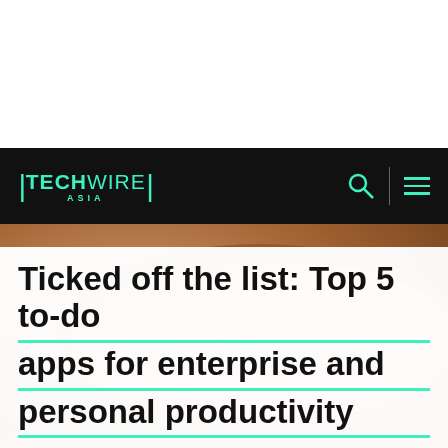TECHWIRE ASIA
[Figure (photo): Close-up of a hand with writing on the palm, warm brown tones, blurred background]
Ticked off the list: Top 5 to-do apps for enterprise and personal productivity